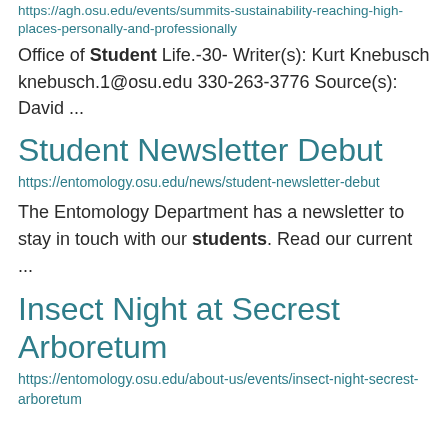https://agh.osu.edu/events/summits-sustainability-reaching-high-places-personally-and-professionally
Office of Student Life.-30- Writer(s): Kurt Knebusch knebusch.1@osu.edu 330-263-3776 Source(s): David ...
Student Newsletter Debut
https://entomology.osu.edu/news/student-newsletter-debut
The Entomology Department has a newsletter to stay in touch with our students. Read our current ...
Insect Night at Secrest Arboretum
https://entomology.osu.edu/about-us/events/insect-night-secrest-arboretum